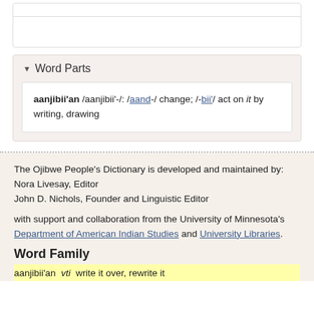aanjibii'an /aanjibii'-/: /aand-/ change; /-bii'/ act on it by writing, drawing
Word Parts
aanjibii'an /aanjibii'-/: /aand-/ change; /-bii'/ act on it by writing, drawing
The Ojibwe People's Dictionary is developed and maintained by:
Nora Livesay, Editor
John D. Nichols, Founder and Linguistic Editor

with support and collaboration from the University of Minnesota's Department of American Indian Studies and University Libraries.
Word Family
aanjiibii'an vti write it over, rewrite it